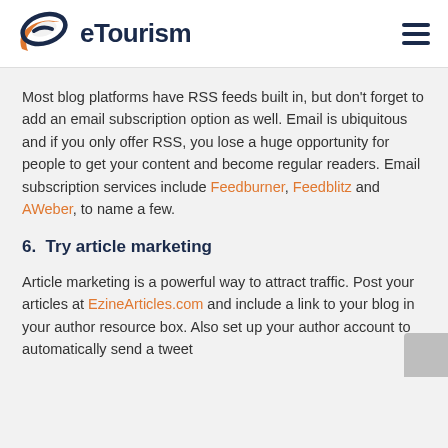[Figure (logo): eTourism logo with stylized orange and dark blue 'e' swoosh graphic and text 'eTourism' in dark navy]
Most blog platforms have RSS feeds built in, but don't forget to add an email subscription option as well. Email is ubiquitous and if you only offer RSS, you lose a huge opportunity for people to get your content and become regular readers. Email subscription services include Feedburner, Feedblitz and AWeber, to name a few.
6.  Try article marketing
Article marketing is a powerful way to attract traffic. Post your articles at EzineArticles.com and include a link to your blog in your author resource box. Also set up your author account to automatically send a tweet